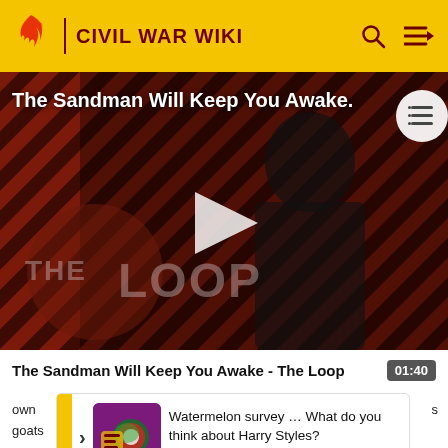CIVIL WAR WIKI
[Figure (screenshot): Video thumbnail showing a dark-cloaked figure against a red and black diagonal stripe background. Title overlay reads 'The Sandman Will Keep You Awake.' with 'THE LOOP' watermark. Large play button triangle in center.]
The Sandman Will Keep You Awake - The Loop
01:40
[Figure (illustration): Watermelon survey promotional image with colorful graphic]
Watermelon survey … What do you think about Harry Styles?
TAKE THE SURVEY HERE
own … goats … wife,
s … ale